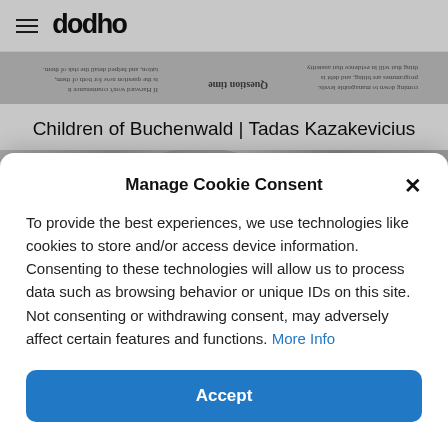dodho
[Figure (photo): Upside-down newspaper strip showing text and headlines]
Children of Buchenwald | Tadas Kazakevicius
[Figure (photo): Black and white photo strip showing hands and books/documents]
Manage Cookie Consent
To provide the best experiences, we use technologies like cookies to store and/or access device information. Consenting to these technologies will allow us to process data such as browsing behavior or unique IDs on this site. Not consenting or withdrawing consent, may adversely affect certain features and functions. More Info
Accept